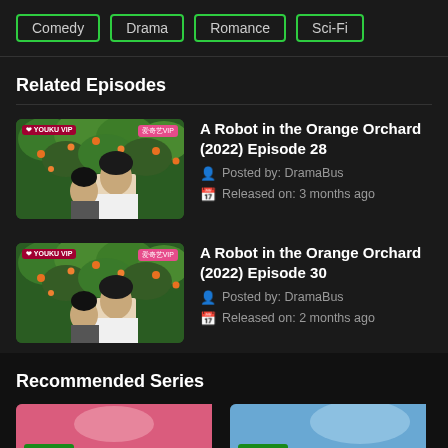Comedy
Drama
Romance
Sci-Fi
Related Episodes
[Figure (photo): Thumbnail for A Robot in the Orange Orchard Episode 28 - man among orange trees with YOUKU VIP badge]
A Robot in the Orange Orchard (2022) Episode 28
Posted by: DramaBus
Released on: 3 months ago
[Figure (photo): Thumbnail for A Robot in the Orange Orchard Episode 30 - same scene with orange trees and man]
A Robot in the Orange Orchard (2022) Episode 30
Posted by: DramaBus
Released on: 2 months ago
Recommended Series
[Figure (photo): Recommended series thumbnail 1 with Drama badge on pink background]
[Figure (photo): Recommended series thumbnail 2 with Drama badge on blue/sky background]